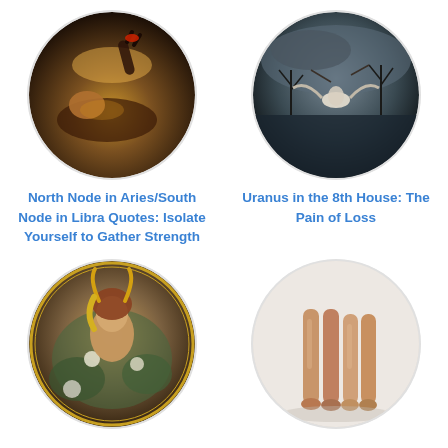[Figure (photo): Circular photo of a person lying back with dramatic golden light and a hand raised]
[Figure (photo): Circular dark moody photo of a figure in a stormy landscape with bare trees]
North Node in Aries/South Node in Libra Quotes: Isolate Yourself to Gather Strength
Uranus in the 8th House: The Pain of Loss
[Figure (photo): Circular illustration of a woman with golden horns surrounded by flowers in a painterly style]
[Figure (photo): Circular photo of two pairs of legs/feet standing on a light background]